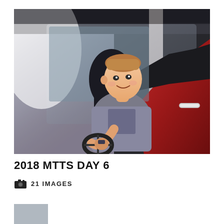[Figure (photo): A teenage boy sitting in the driver's seat of a red SUV, smiling at the camera, wearing a gray t-shirt. The vehicle door is open and the photo is taken from outside. Bright daylight with a parking lot visible in the background.]
2018 MTTS DAY 6
21 IMAGES
[Figure (photo): Partial thumbnail of another photo visible at the bottom left of the page.]